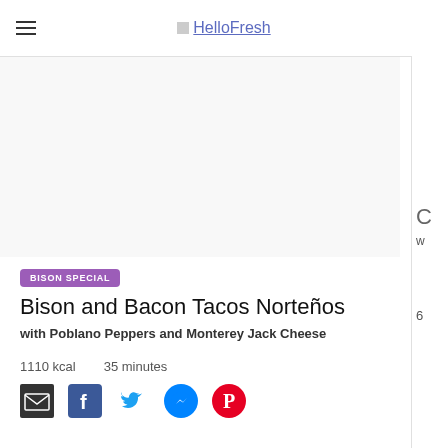HelloFresh
[Figure (photo): Recipe food photo area (white/blank image placeholder)]
BISON SPECIAL
Bison and Bacon Tacos Norteños
with Poblano Peppers and Monterey Jack Cheese
1110 kcal   35 minutes
[Figure (infographic): Social sharing icons: email, Facebook, Twitter, Messenger, Pinterest]